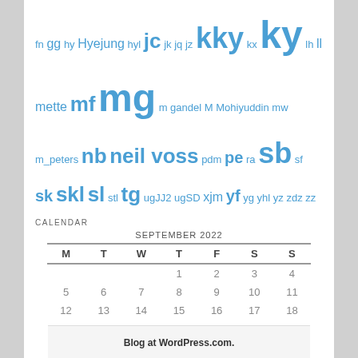fn gg hy Hyejung hyl jc jk jq jz kky kx ky lh ll mette mf mg m gandel M Mohiyuddin mw m_peters nb neil voss pdm pe ra sb sf sk skl sl stl tg ugJJ2 ugSD xjm yf yg yhl yz zdz zz
CALENDAR
| M | T | W | T | F | S | S |
| --- | --- | --- | --- | --- | --- | --- |
|  |  |  | 1 | 2 | 3 | 4 |
| 5 | 6 | 7 | 8 | 9 | 10 | 11 |
| 12 | 13 | 14 | 15 | 16 | 17 | 18 |
| 19 | 20 | 21 | 22 | 23 | 24 | 25 |
| 26 | 27 | 28 | 29 | 30 |  |  |
Blog at WordPress.com.